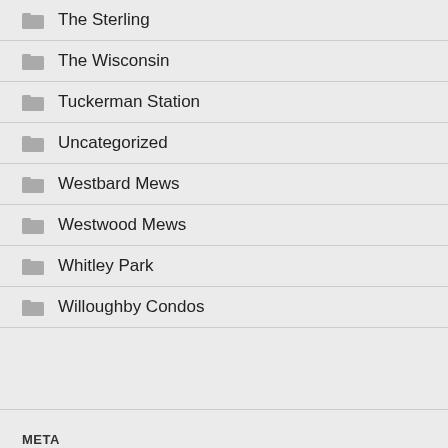The Sterling
The Wisconsin
Tuckerman Station
Uncategorized
Westbard Mews
Westwood Mews
Whitley Park
Willoughby Condos
META